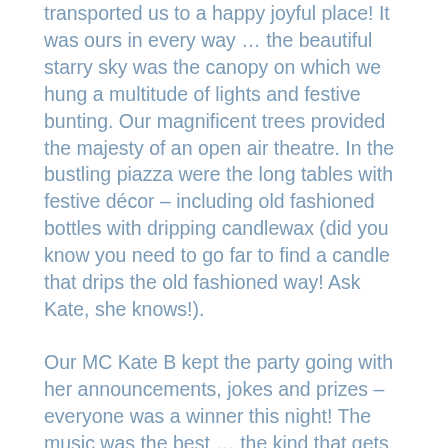transported us to a happy joyful place! It was ours in every way … the beautiful starry sky was the canopy on which we hung a multitude of lights and festive bunting. Our magnificent trees provided the majesty of an open air theatre. In the bustling piazza were the long tables with festive décor – including old fashioned bottles with dripping candlewax (did you know you need to go far to find a candle that drips the old fashioned way! Ask Kate, she knows!).
Our MC Kate B kept the party going with her announcements, jokes and prizes – everyone was a winner this night! The music was the best … the kind that gets you out of your seat, the kind that you cannot be still to! Ageless music … making everyone young, again.
THANK YOU EVERYONE!! So much work was